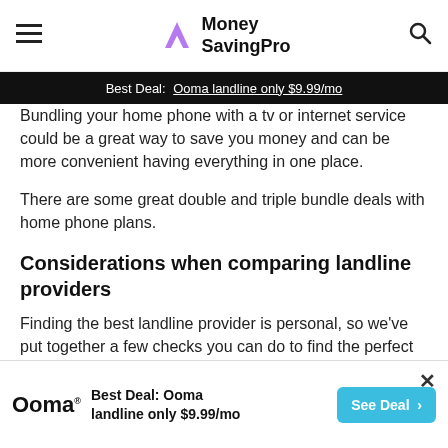Money SavingPro
Best Deal: Ooma landline only $9.99/mo
Bundling your home phone with a tv or internet service could be a great way to save you money and can be more convenient having everything in one place.
There are some great double and triple bundle deals with home phone plans.
Considerations when comparing landline providers
Finding the best landline provider is personal, so we've put together a few checks you can do to find the perfect fit to your needs.
Cost: how much do you want to pay for your home telephone service? Decide what you want to pay and...
Best Deal: Ooma landline only $9.99/mo